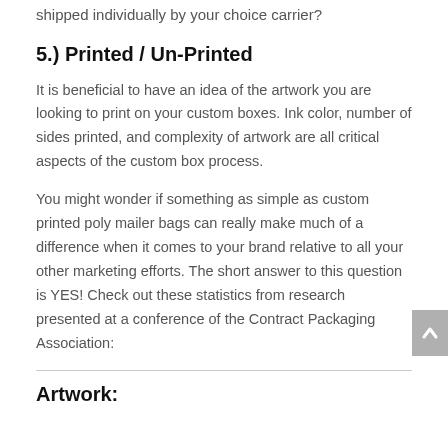shipped individually by your choice carrier?
5.) Printed / Un-Printed
It is beneficial to have an idea of the artwork you are looking to print on your custom boxes. Ink color, number of sides printed, and complexity of artwork are all critical aspects of the custom box process.
You might wonder if something as simple as custom printed poly mailer bags can really make much of a difference when it comes to your brand relative to all your other marketing efforts. The short answer to this question is YES! Check out these statistics from research presented at a conference of the Contract Packaging Association:
Artwork: